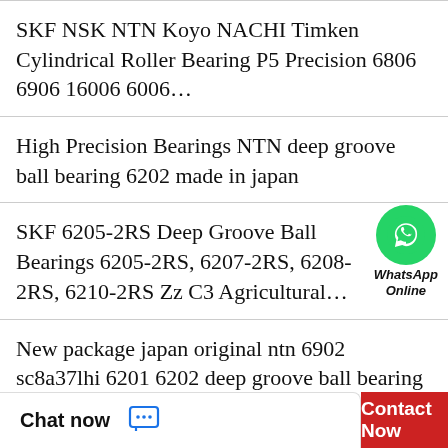SKF NSK NTN Koyo NACHI Timken Cylindrical Roller Bearing P5 Precision 6806 6906 16006 6006…
High Precision Bearings NTN deep groove ball bearing 6202 made in japan
SKF 6205-2RS Deep Groove Ball Bearings 6205-2RS, 6207-2RS, 6208-2RS, 6210-2RS Zz C3 Agricultural…
New package japan original ntn 6902 sc8a37lhi 6201 6202 deep groove ball bearing 6205 6301 engine bearing
SKF NSK Koyo Timken NTN NACHI Wheel Bearing Spherical Roller Bearing Cylindrical Roller Bearing…